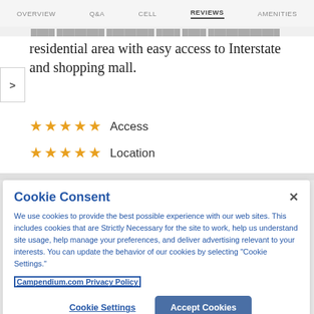OVERVIEW   Q&A   CELL   REVIEWS   AMENITIES
residential area with easy access to Interstate and shopping mall.
★★★★★  Access
★★★★★  Location
Cookie Consent
We use cookies to provide the best possible experience with our web sites. This includes cookies that are Strictly Necessary for the site to work, help us understand site usage, help manage your preferences, and deliver advertising relevant to your interests. You can update the behavior of our cookies by selecting "Cookie Settings."
Campendium.com Privacy Policy
Cookie Settings
Accept Cookies